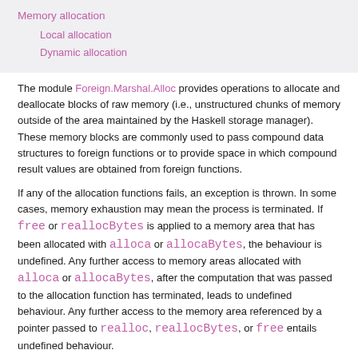Memory allocation
Local allocation
Dynamic allocation
The module Foreign.Marshal.Alloc provides operations to allocate and deallocate blocks of raw memory (i.e., unstructured chunks of memory outside of the area maintained by the Haskell storage manager). These memory blocks are commonly used to pass compound data structures to foreign functions or to provide space in which compound result values are obtained from foreign functions.
If any of the allocation functions fails, an exception is thrown. In some cases, memory exhaustion may mean the process is terminated. If free or reallocBytes is applied to a memory area that has been allocated with alloca or allocaBytes, the behaviour is undefined. Any further access to memory areas allocated with alloca or allocaBytes, after the computation that was passed to the allocation function has terminated, leads to undefined behaviour. Any further access to the memory area referenced by a pointer passed to realloc, reallocBytes, or free entails undefined behaviour.